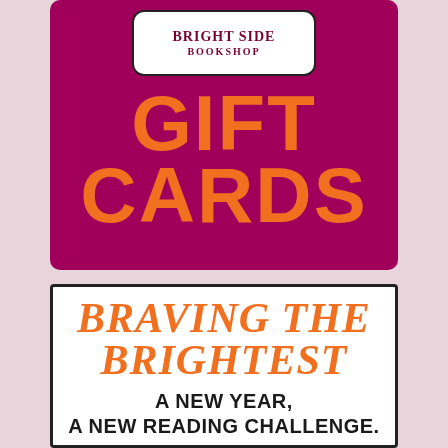[Figure (logo): Bright Side Bookshop logo in white rounded rectangle on magenta background]
GIFT CARDS
BRAVING THE BRIGHTEST
A NEW YEAR, A NEW READING CHALLENGE.